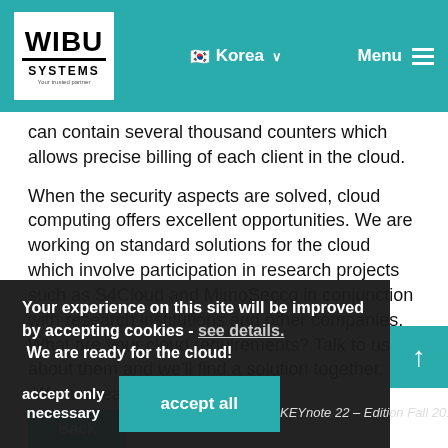WIBU SYSTEMS | Korea | Menu
can contain several thousand counters which allows precise billing of each client in the cloud.
When the security aspects are solved, cloud computing offers excellent opportunities. We are working on standard solutions for the cloud which involve participation in research projects such as S4Cloud and MimoSecco in conjunction with research institutions and other companies. What are your cloud requirements? Talk to us about them and we'll find a solution together.
 We are ready for the cloud!
Your experience on this site will be improved by accepting cookies - see details. We are ready for the cloud!
accept only necessary
accept all
KEYnote 22 – Edition Fall 2011
Back